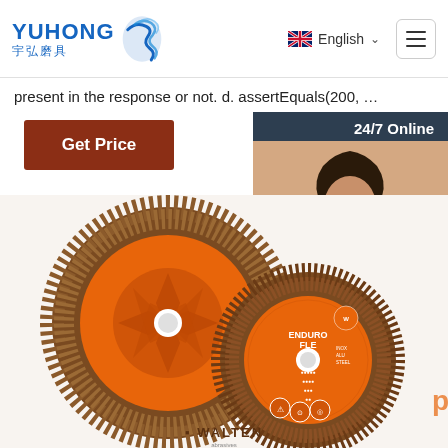YUHONG 宇弘磨具 — English — Menu
present in the response or not. d. assertEquals(200, …
[Figure (screenshot): Get Price button (brown/maroon)]
[Figure (photo): 24/7 Online chat widget with customer service representative photo and QUOTATION button]
[Figure (photo): Orange flap discs (Walter Enduro FLE brand) — two abrasive grinding discs with orange backing and brown flap abrasive, one showing face and one showing back side, with WALTEN branding at bottom]